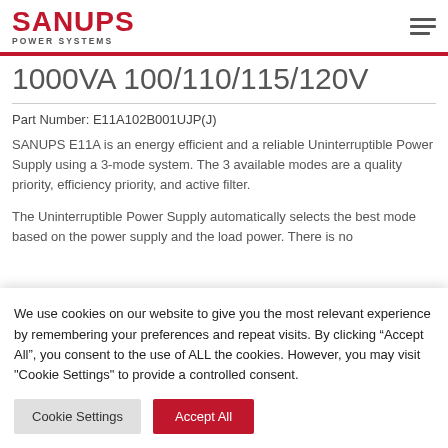SANUPS POWER SYSTEMS
1000VA 100/110/115/120V
Part Number: E11A102B001UJP(J)
SANUPS E11A is an energy efficient and a reliable Uninterruptible Power Supply using a 3-mode system. The 3 available modes are a quality priority, efficiency priority, and active filter.
The Uninterruptible Power Supply automatically selects the best mode based on the power supply and the load power. There is no
We use cookies on our website to give you the most relevant experience by remembering your preferences and repeat visits. By clicking “Accept All”, you consent to the use of ALL the cookies. However, you may visit "Cookie Settings" to provide a controlled consent.